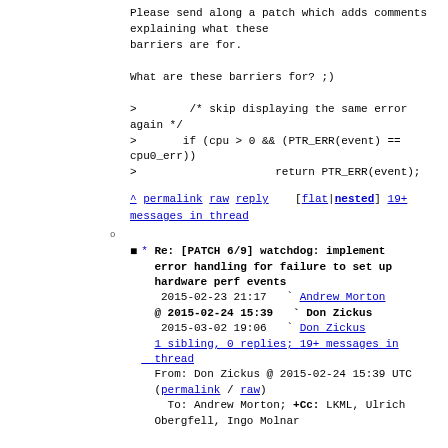Please send along a patch which adds comments explaining what these barriers are for.

What are these barriers for? ;)

>        /* skip displaying the same error again */
>       if (cpu > 0 && (PTR_ERR(event) == cpu0_err))
>                       return PTR_ERR(event);
^ permalink raw reply   [flat|nested] 19+ messages in thread
* Re: [PATCH 6/9] watchdog: implement error handling for failure to set up hardware perf events
2015-02-23 21:17  ` Andrew Morton
@ 2015-02-24 15:39  ` Don Zickus
2015-03-02 19:06  ` Don Zickus
1 sibling, 0 replies; 19+ messages in thread
From: Don Zickus @ 2015-02-24 15:39 UTC (permalink / raw)
To: Andrew Morton; +Cc: LKML, Ulrich Obergfell, Ingo Molnar